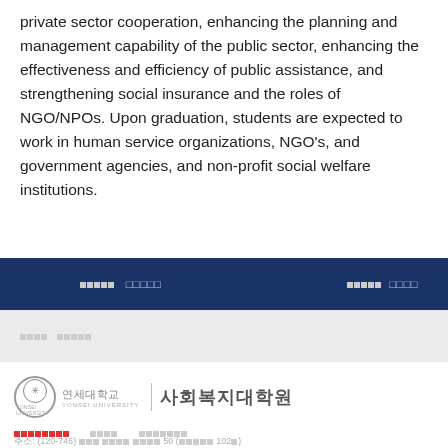private sector cooperation, enhancing the planning and management capability of the public sector, enhancing the effectiveness and efficiency of public assistance, and strengthening social insurance and the roles of NGO/NPOs. Upon graduation, students are expected to work in human service organizations, NGO's, and government agencies, and non-profit social welfare institutions.
[Korean nav bar text] [Korean nav text right]
[Korean breadcrumb text]
연세대학교 사회복지대학원
[Korean footer links] [Korean footer links] [Korean footer links]
주소: (120-746) [Korean address] 50 ([Korean] 102[Korean])